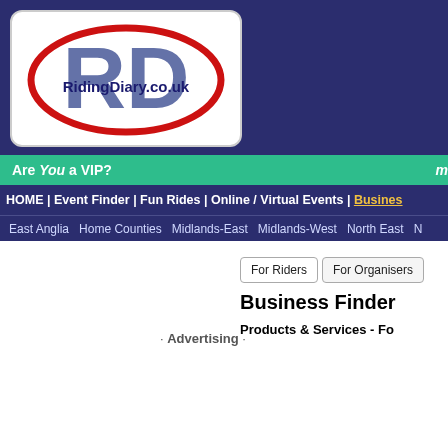[Figure (logo): RidingDiary.co.uk logo — large blue RD letters with red oval encircling the text 'RidingDiary.co.uk' in dark blue serif font, white background with rounded rectangle border]
Are You a VIP?   m
HOME | Event Finder | Fun Rides | Online / Virtual Events | Business
East Anglia   Home Counties   Midlands-East   Midlands-West   North East   N
· Advertising ·
For Riders   For Organisers
Business Finder
Products & Services - Fo